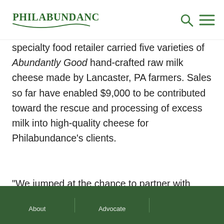Philabundance [logo with search and menu icons]
specialty food retailer carried five varieties of Abundantly Good hand-crafted raw milk cheese made by Lancaster, PA farmers. Sales so far have enabled $9,000 to be contributed toward the rescue and processing of excess milk into high-quality cheese for Philabundance's clients.
“We jumped at the chance to partner with
About | Advocate